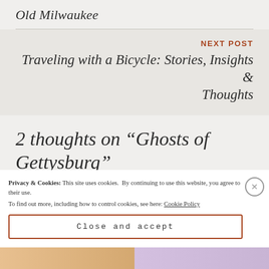Old Milwaukee
NEXT POST
Traveling with a Bicycle: Stories, Insights & Thoughts
2 thoughts on “Ghosts of Gettysburg”
Privacy & Cookies: This site uses cookies. By continuing to use this website, you agree to their use. To find out more, including how to control cookies, see here: Cookie Policy
Close and accept